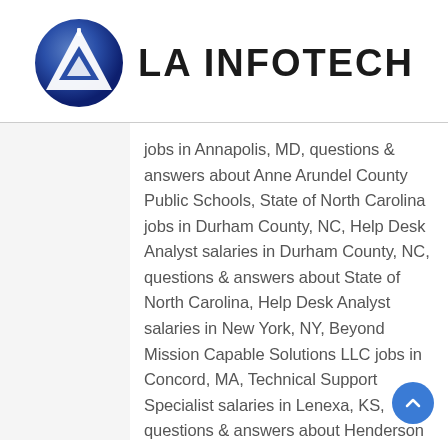[Figure (logo): LA Infotech logo — blue circular icon with a stylized 'LA' letter mark (triangle shapes) on the left, bold text 'LA INFOTECH' on the right]
jobs in Annapolis, MD, questions & answers about Anne Arundel County Public Schools, State of North Carolina jobs in Durham County, NC, Help Desk Analyst salaries in Durham County, NC, questions & answers about State of North Carolina, Help Desk Analyst salaries in New York, NY, Beyond Mission Capable Solutions LLC jobs in Concord, MA, Technical Support Specialist salaries in Lenexa, KS, questions & answers about Henderson Engineers, questions & answers about